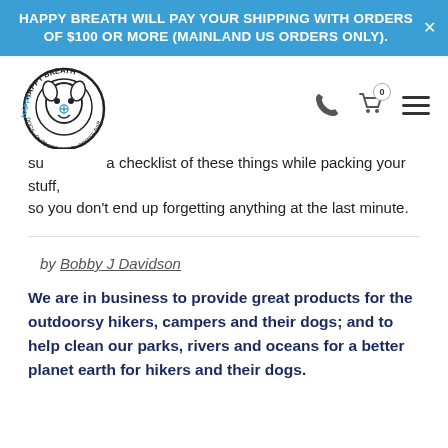HAPPY BREATH WILL PAY YOUR SHIPPING WITH ORDERS OF $100 OR MORE (MAINLAND US ORDERS ONLY).
[Figure (logo): Happy Breath logo — circular badge with dog face illustration and text 'HAPPY BREATH · DOGS · OUTDOOR GEAR · COFFEE BAR']
su… a checklist of these things while packing your stuff, so you don't end up forgetting anything at the last minute.
by Bobby J Davidson
We are in business to provide great products for the outdoorsy hikers, campers and their dogs; and to help clean our parks, rivers and oceans for a better planet earth for hikers and their dogs.